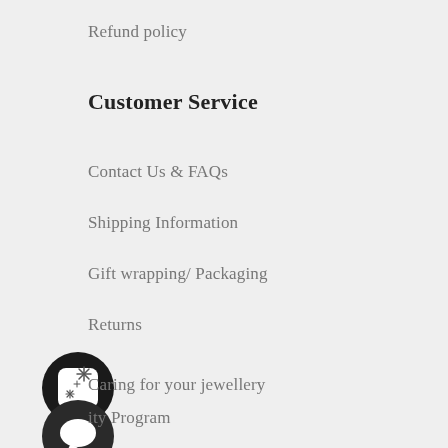Refund policy
Customer Service
Contact Us & FAQs
Shipping Information
Gift wrapping/ Packaging
Returns
[Figure (illustration): Black circular icon with a sparkle/magic wand emoji inside a white rounded square]
Caring for your jewellery
[Figure (illustration): Black circular icon with a speech bubble / chat icon inside]
ity Program